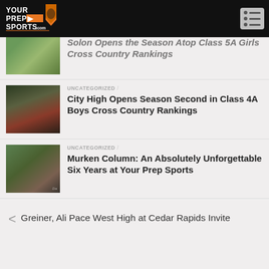[Figure (logo): YourPrepSports.com logo with orange shield icon on black header bar]
Solon Opens the Season Atop Class 5A Girls Cross Country Rankings
UNCATEGORIZED / City High Opens Season Second in Class 4A Boys Cross Country Rankings
UNCATEGORIZED / Murken Column: An Absolutely Unforgettable Six Years at Your Prep Sports
< Greiner, Ali Pace West High at Cedar Rapids Invite